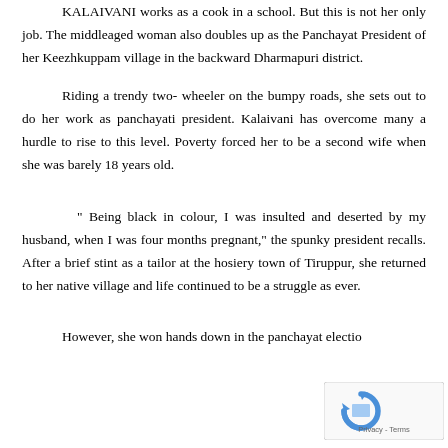KALAIVANI works as a cook in a school. But this is not her only job. The middleaged woman also doubles up as the Panchayat President of her Keezhkuppam village in the backward Dharmapuri district.

Riding a trendy two- wheeler on the bumpy roads, she sets out to do her work as panchayati president. Kalaivani has overcome many a hurdle to rise to this level. Poverty forced her to be a second wife when she was barely 18 years old.

“ Being black in colour, I was insulted and deserted by my husband, when I was four months pregnant,” the spunky president recalls. After a brief stint as a tailor at the hosiery town of Tiruppur, she returned to her native village and life continued to be a struggle as ever.

However, she won hands down in the panchayat electio...
[Figure (other): reCAPTCHA widget overlay in bottom-right corner showing Privacy - Terms]